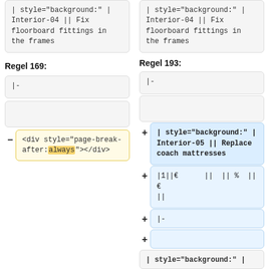| style="background:" | Interior-04 || Fix floorboard fittings in the frames
| style="background:" | Interior-04 || Fix floorboard fittings in the frames
Regel 169:
Regel 193:
|-
|-
<div style="page-break-after:always"></div>
| style="background:" | Interior-05 || Replace coach mattresses
|1||€      ||  || %  ||€      ||
|-
| style="background:" |